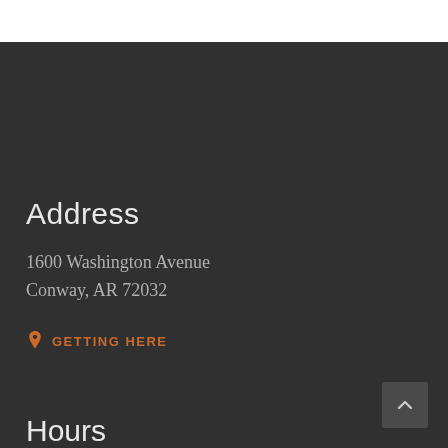Address
1600 Washington Avenue
Conway, AR 72032
GETTING HERE
Hours